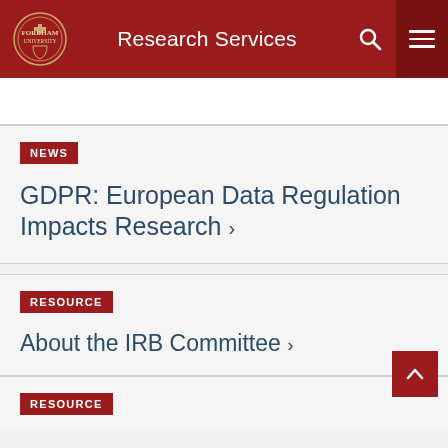Research Services
NEWS
GDPR: European Data Regulation Impacts Research ›
RESOURCE
About the IRB Committee ›
RESOURCE